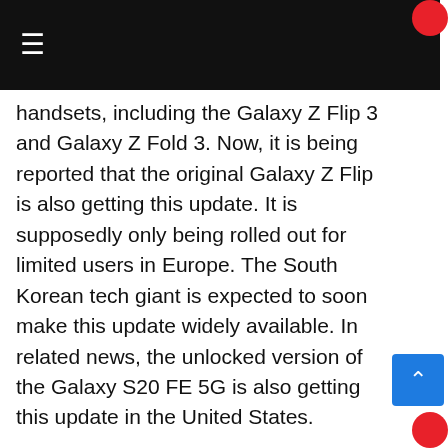≡ (hamburger menu navigation bar)
handsets, including the Galaxy Z Flip 3 and Galaxy Z Fold 3. Now, it is being reported that the original Galaxy Z Flip is also getting this update. It is supposedly only being rolled out for limited users in Europe. The South Korean tech giant is expected to soon make this update widely available. In related news, the unlocked version of the Galaxy S20 FE 5G is also getting this update in the United States.

As per a report by Sammobile, Samsung is rolling out the June 2022 Android security patch for the Galaxy Z Flip in Italy. The update has the firmware number F700FXXU8GVF3. This new